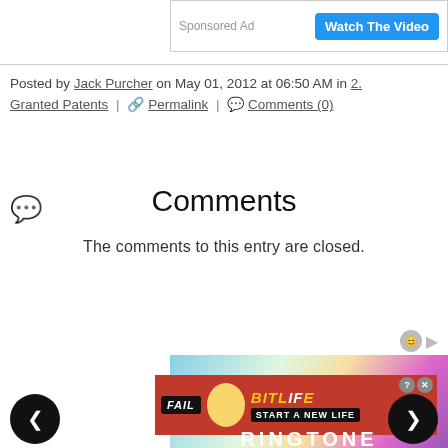[Figure (other): Sponsored Ad bar with 'Watch The Video' blue button]
Posted by Jack Purcher on May 01, 2012 at 06:50 AM in 2. Granted Patents | Permalink | Comments (0)
Comments
The comments to this entry are closed.
[Figure (other): Bottom advertisement area showing BitLife 'START A NEW LIFE' ad and RINGTONE banner with navigation arrows]